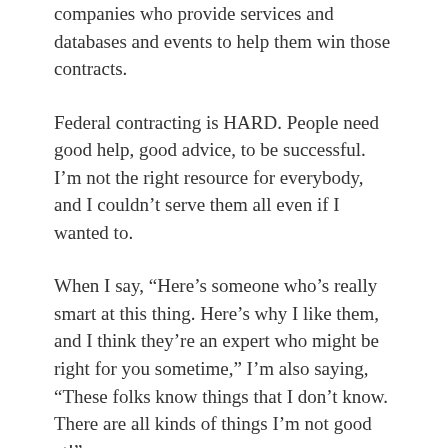companies who provide services and databases and events to help them win those contracts.
Federal contracting is HARD. People need good help, good advice, to be successful. I'm not the right resource for everybody, and I couldn't serve them all even if I wanted to.
When I say, “Here’s someone who’s really smart at this thing. Here’s why I like them, and I think they’re an expert who might be right for you sometime,” I’m also saying, “These folks know things that I don’t know. There are all kinds of things I’m not good at!”
Not every prospect is a great fit for me. More often than not, I refer people to some other resource or company that’s a better fit. That leaves me open to serve someone